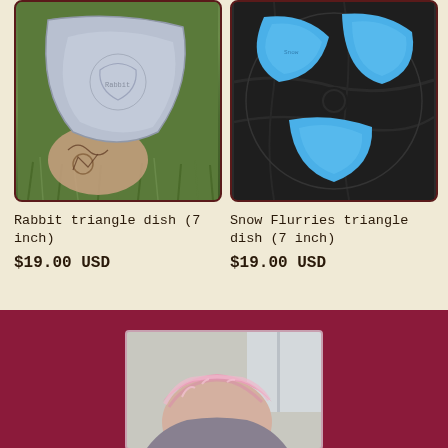[Figure (photo): Triangular ceramic dish in grey/silver color held above grass by a tattooed hand]
Rabbit triangle dish (7 inch)
$19.00 USD
[Figure (photo): Three blue triangular dishes arranged in a circle on dark stone surface]
Snow Flurries triangle dish (7 inch)
$19.00 USD
[Figure (photo): Person with pink hair seen from above, partially visible at bottom of page]